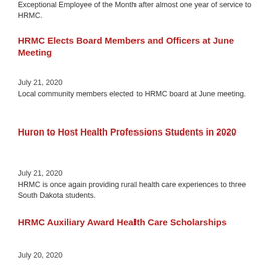Exceptional Employee of the Month after almost one year of service to HRMC.
HRMC Elects Board Members and Officers at June Meeting
July 21, 2020
Local community members elected to HRMC board at June meeting.
Huron to Host Health Professions Students in 2020
July 21, 2020
HRMC is once again providing rural health care experiences to three South Dakota students.
HRMC Auxiliary Award Health Care Scholarships
July 20, 2020